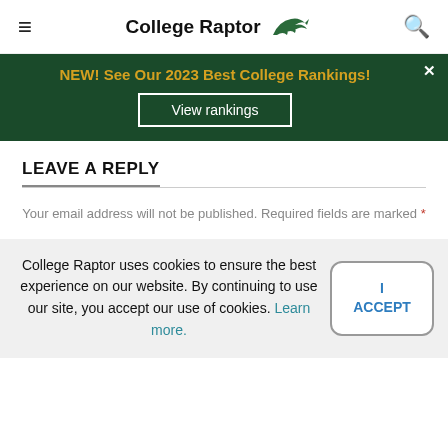CollegeRaptor
[Figure (infographic): Green banner advertisement: NEW! See Our 2023 Best College Rankings! with View rankings button and close X]
LEAVE A REPLY
Your email address will not be published. Required fields are marked *
College Raptor uses cookies to ensure the best experience on our website. By continuing to use our site, you accept our use of cookies. Learn more.